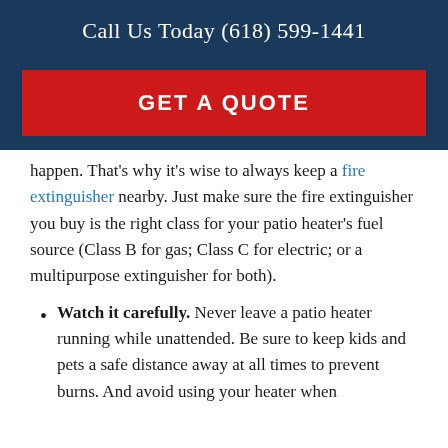Call Us Today (618) 599-1441
GET A QUOTE
happen. That’s why it’s wise to always keep a fire extinguisher nearby. Just make sure the fire extinguisher you buy is the right class for your patio heater’s fuel source (Class B for gas; Class C for electric; or a multipurpose extinguisher for both).
Watch it carefully. Never leave a patio heater running while unattended. Be sure to keep kids and pets a safe distance away at all times to prevent burns. And avoid using your heater when